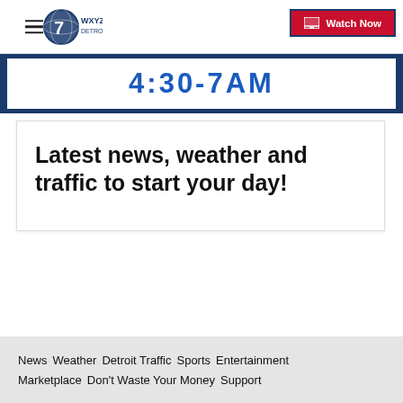WXYZ Detroit — Watch Now
[Figure (screenshot): TV schedule time bar showing '4:30-7AM' in blue text on white background with dark blue borders]
Latest news, weather and traffic to start your day!
News  Weather  Detroit Traffic  Sports  Entertainment  Marketplace  Don't Waste Your Money  Support